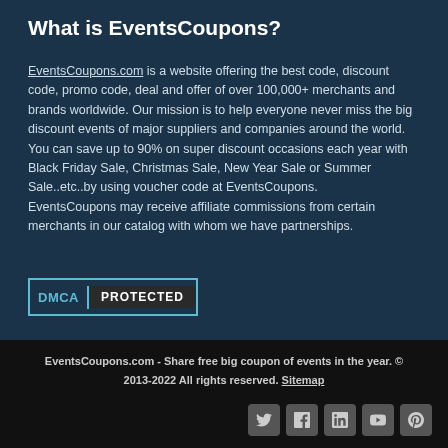What is EventsCoupons?
EventsCoupons.com is a website offering the best code, discount code, promo code, deal and offer of over 100,000+ merchants and brands worldwide. Our mission is to help everyone never miss the big discount events of major suppliers and companies around the world. You can save up to 90% on super discount occasions each year with Black Friday Sale, Christmas Sale, New Year Sale or Summer Sale..etc..by using voucher code at EventsCoupons. EventsCoupons may receive affiliate commissions from certain merchants in our catalog with whom we have partnerships.
[Figure (logo): DMCA Protected badge with teal border]
EventsCoupons.com - Share free big coupon of events in the year. © 2013-2022 All rights reserved. Sitemap